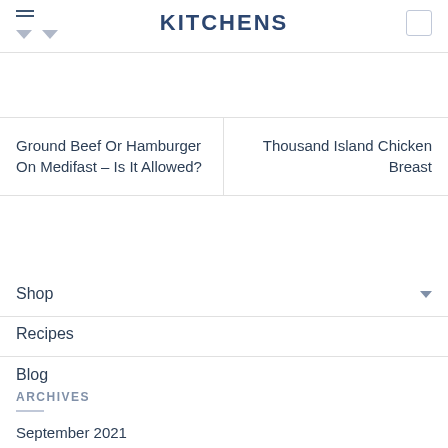KITCHENS
Ground Beef Or Hamburger On Medifast – Is It Allowed?
Thousand Island Chicken Breast
Shop
Recipes
Blog
ARCHIVES
September 2021